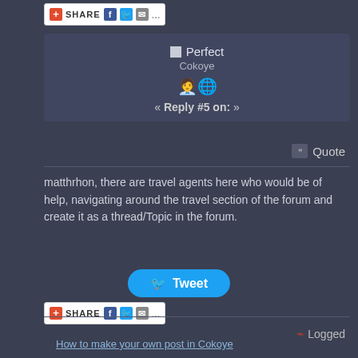[Figure (screenshot): Share bar with social icons (Facebook, Twitter, Email) at top]
Logged
Perfect
Cokoye
« Reply #5 on: »
Quote
matthrhon, there are travel agents here who would be of help, navigating around the travel section of the forum and create it as a thread/Topic in the forum.
[Figure (screenshot): Tweet button]
[Figure (screenshot): Share bar with social icons at bottom]
Logged
How to make your own post in Cokoye
6 quick ways to get customers from Cokoye